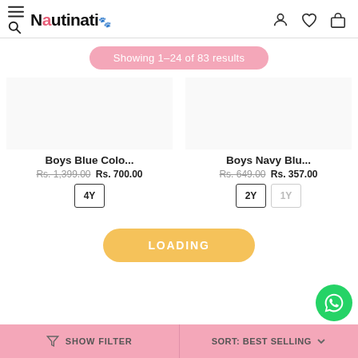Nautinati — navigation header with hamburger/search, logo, and icons
Showing 1–24 of 83 results
[Figure (photo): Product image placeholder for Boys Blue Colo...]
Boys Blue Colo...
Rs. 1,399.00 Rs. 700.00
4Y
[Figure (photo): Product image placeholder for Boys Navy Blu...]
Boys Navy Blu...
Rs. 649.00 Rs. 357.00
2Y 1Y
LOADING
SHOW FILTER | SORT: BEST SELLING